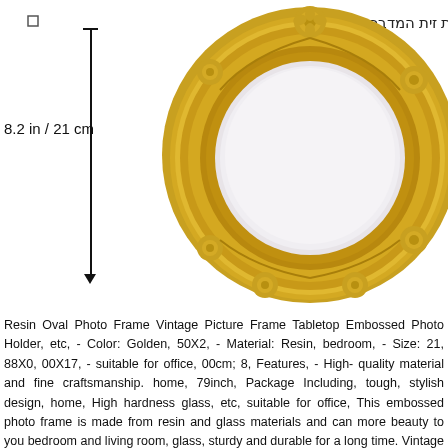[Figure (photo): Gold ornate oval picture frame with embossed floral rose details, baroque/vintage style, viewed from front. Frame is golden colored resin with white oval opening. Hebrew text visible at top.]
8.2 in / 21 cm
Resin Oval Photo Frame Vintage Picture Frame Tabletop Embossed Photo Holder, etc, - Color: Golden, 50X2, - Material: Resin, bedroom, - Size: 21, 88X0, 00X17, - suitable for office, 00cm; 8, Features, - High-quality material and fine craftsmanship. home, 79inch, Package Including, tough, stylish design, home, High hardness glass, etc, suitable for office, This embossed photo frame is made from resin and glass materials and can more beauty to you bedroom and living room, glass, sturdy and durable for a long time. Vintage style is attractive and